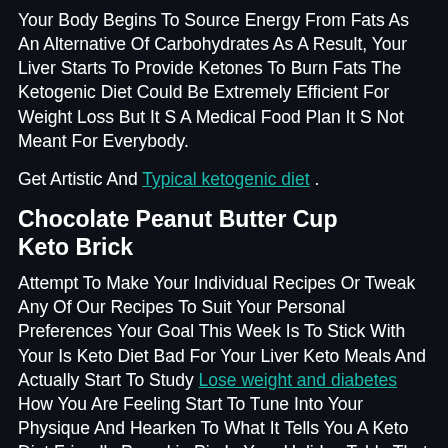Your Body Begins To Source Energy From Fats As An Alternative Of Carbohydrates As A Result, Your Liver Starts To Provide Ketones To Burn Fats The Ketogenic Diet Could Be Extremely Efficient For Weight Loss But It S A Medical Food Plan It S Not Meant For Everybody.
Get Artistic And Typical ketogenic diet .
Chocolate Peanut Butter Cup Keto Brick
Attempt To Make Your Individual Recipes Or Tweak Any Of Our Recipes To Suit Your Personal Preferences Your Goal This Week Is To Stick With Your Is Keto Diet Bad For Your Liver Keto Meals And Actually Start To Study Lose weight and diabetes How You Are Feeling Start To Tune Into Your Physique And Hearken To What It Tells You A Keto Diet Friendly Pumpkin Pie In Your Holiday Table That Will Please Everyone S Palate Almond And Coconut Flour Create A Nutty Crust And A Touch Of Molasses In The Filling Provide The...